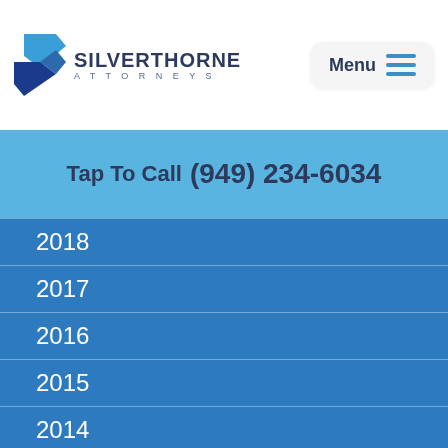[Figure (logo): Silverthorne Attorneys logo with stylized blue S and dark navy text reading SILVERTHORNE ATTORNEYS]
Menu
Tap To Call  (949) 234-6034
2018
2017
2016
2015
2014